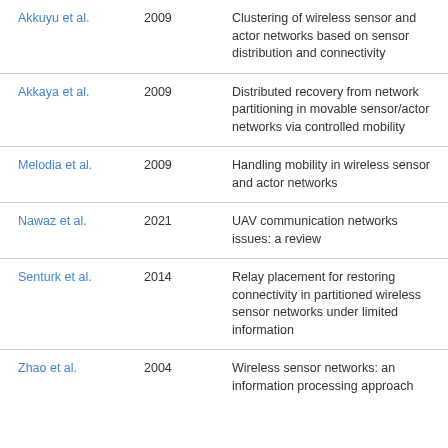| Author | Year | Title |
| --- | --- | --- |
| Akkuyu et al. | 2009 | Clustering of wireless sensor and actor networks based on sensor distribution and connectivity |
| Akkaya et al. | 2009 | Distributed recovery from network partitioning in movable sensor/actor networks via controlled mobility |
| Melodia et al. | 2009 | Handling mobility in wireless sensor and actor networks |
| Nawaz et al. | 2021 | UAV communication networks issues: a review |
| Senturk et al. | 2014 | Relay placement for restoring connectivity in partitioned wireless sensor networks under limited information |
| Zhao et al. | 2004 | Wireless sensor networks: an information processing approach |